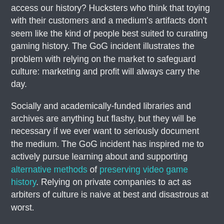access our history? Hucksters who think that toying with their customers and a medium's artifacts don't seem like the kind of people best suited to curating gaming history. The GoG incident illustrates the problem with relying on the market to safeguard culture: marketing and profit will always carry the day.
Socially and academically-funded libraries and archives are anything but flashy, but they will be necessary if we ever want to seriously document the medium. The GoG incident has inspired me to actively pursue learning about and supporting alternative methods of preserving video game history. Relying on private companies to act as arbiters of culture is naive at best and disastrous at worst.
Scott Juster at 10/26/2010 02:06:00 PM
Share
Thursday, October 21, 2010
Dusty Pixels and Patchwork Stories